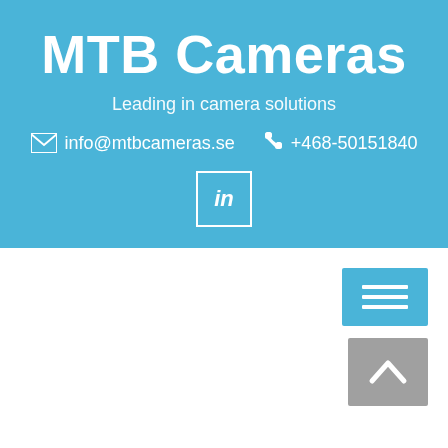MTB Cameras
Leading in camera solutions
info@mtbcameras.se   +468-50151840
[Figure (logo): LinkedIn logo square icon in white outline box]
[Figure (infographic): Blue hamburger menu button with three white horizontal lines]
[Figure (infographic): Grey scroll-to-top button with white up chevron arrow]